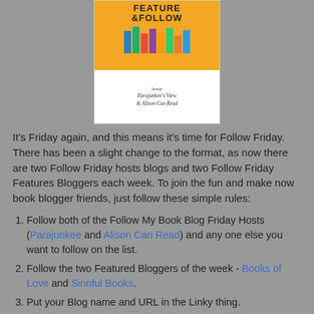[Figure (illustration): Feature & Follow blog hop badge hosted by Parajunkee's View and Alison Can Read, showing colorful books on an orange background]
It's Friday again, and this means it's time for Follow Friday. There has been a slight change to the format, as now there are two Follow Friday hosts blogs and two Follow Friday Features Bloggers each week. To join the fun and make now book blogger friends, just follow these simple rules:
Follow both of the Follow My Book Blog Friday Hosts (Parajunkee and Alison Can Read) and any one else you want to follow on the list.
Follow the two Featured Bloggers of the week - Books of Love and Sinnful Books.
Put your Blog name and URL in the Linky thing.
Grab the button up there and place it in a post, this